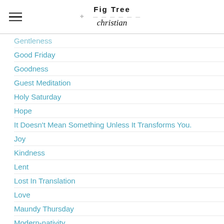Fig Tree Christian
Gentleness
Good Friday
Goodness
Guest Meditation
Holy Saturday
Hope
It Doesn't Mean Something Unless It Transforms You.
Joy
Kindness
Lent
Lost In Translation
Love
Maundy Thursday
Modern-nativity
Movie
Music
Newbies To Fig Tree
New Church Start